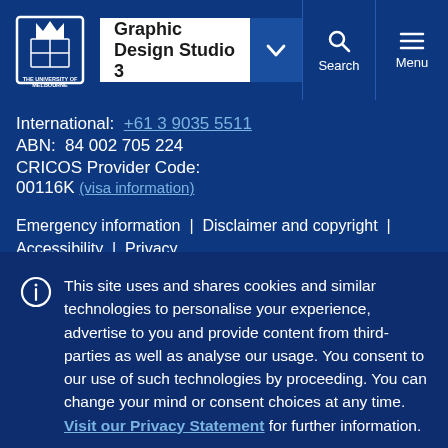[Figure (logo): University of Melbourne crest logo in white on dark blue background]
Graphic Design Studio 3
International: +61 3 9035 5511
ABN: 84 002 705 224
CRICOS Provider Code: 00116K (visa information)
Emergency information | Disclaimer and copyright | Accessibility | Privacy
This site uses and shares cookies and similar technologies to personalise your experience, advertise to you and provide content from third-parties as well as analyse our usage. You consent to our use of such technologies by proceeding. You can change your mind or consent choices at any time. Visit our Privacy Statement for further information.
Accept cookies
Cookie Preferences